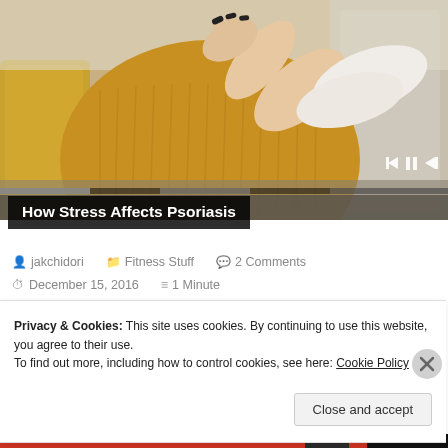[Figure (photo): A woman in a yellow/mustard knit sweater sitting on a couch, holding/scratching her arm, with video player controls overlaid at the bottom. A progress bar and media controls (skip back, pause, skip forward) are visible.]
How Stress Affects Psoriasis
jakchidori   Fitness Stuff   2 Comments   December 15, 2016   1 Minute
Privacy & Cookies: This site uses cookies. By continuing to use this website, you agree to their use.
To find out more, including how to control cookies, see here: Cookie Policy
Close and accept